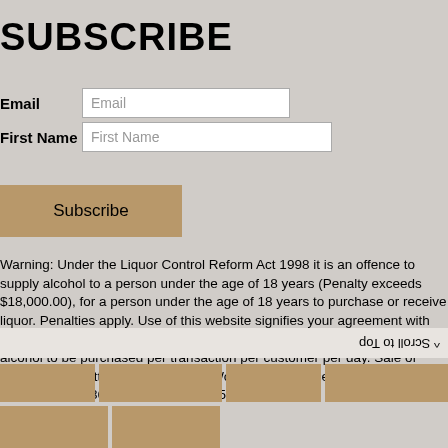SUBSCRIBE
Email
First Name
Subscribe
Warning: Under the Liquor Control Reform Act 1998 it is an offence to supply alcohol to a person under the age of 18 years (Penalty exceeds $18,000.00), for a person under the age of 18 years to purchase or receive liquor. Penalties apply. Use of this website signifies your agreement with our Terms and Conditions and Privacy Policy. No more than 12 bottles of alcohol to be purchased per transaction per customer per day. Sale of alcohol is permitted by The Kokoro World liquor licence numbers 33774577 and 36156655.  ABN 61 551 603 004.
^ Scroll to Top